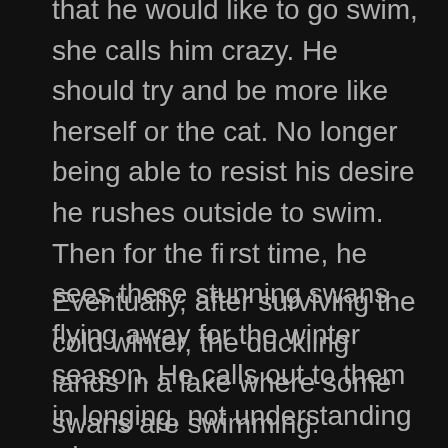that he would like to go swim, she calls him crazy. He should try and be more like herself or the cat. No longer being able to resist his desire he rushes outside to swim. Then for the first time, he sees these stunning swans flying away for the winter season. He calls out to them in longing, not understanding why.
Eventually, after surviving the cold winter, the duckling lands in a lake where some swans are swimming. Yearning to be close to them, he risks swimming at their side. At first, he thinks these majestic birds will kill him for being so ugly. However, once